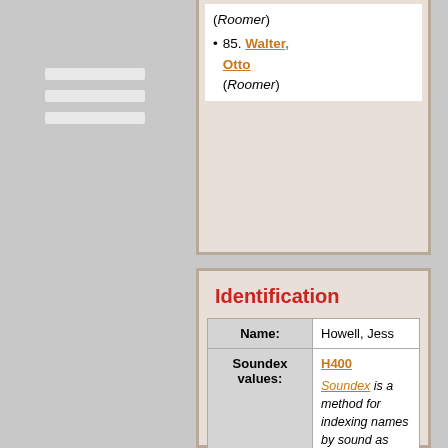(Roomer)
85. Walter, Otto (Roomer)
Identification
|  |  |
| --- | --- |
| Name: | Howell, Jess |
| Soundex values: | H400

Soundex is a method for indexing names by sound as pronounced in English, attempting to match names despite minor differences in spelling. |
| Age in 1930 |  |